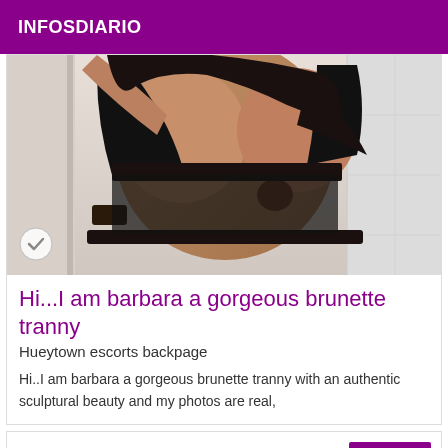INFOSDIARIO
[Figure (photo): A woman in black lace lingerie taking a mirror selfie, torso visible, dark hair]
Hi...I am barbara a gorgeous brunette tranny
Hueytown escorts backpage
Hi..I am barbara a gorgeous brunette tranny with an authentic sculptural beauty and my photos are real,
[Figure (other): Second listing card with Verified badge, content area empty/white]